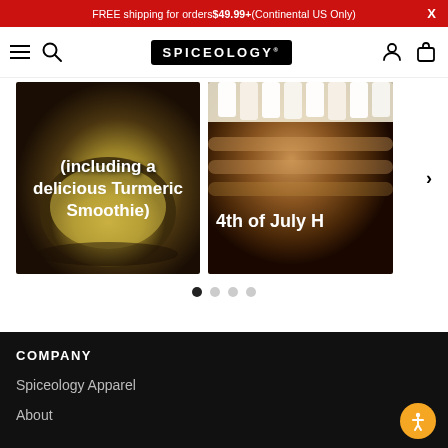FREE shipping for orders $49.99+ (Continental US Only)
[Figure (screenshot): Spiceology website navigation bar with hamburger menu, search icon, Spiceology logo, user icon, and shopping bag icon]
[Figure (photo): Carousel slide 1: photo of a turmeric smoothie in a dark bowl with text overlay '(including a delicious Turmeric Smoothie)']
[Figure (photo): Carousel slide 2: partial photo with text overlay '4th of July H']
(including a delicious Turmeric Smoothie)
4th of July H
COMPANY
Spiceology Apparel
About